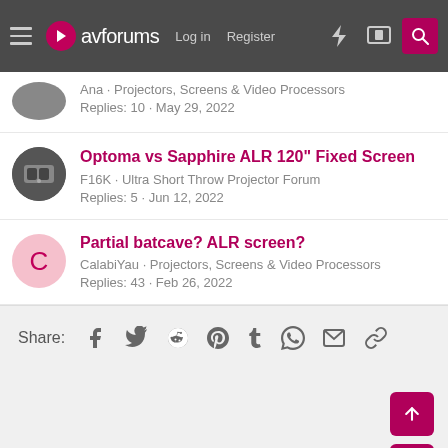avforums | Log in | Register
Ana · Projectors, Screens & Video Processors
Replies: 10 · May 29, 2022
Optoma vs Sapphire ALR 120" Fixed Screen
F16K · Ultra Short Throw Projector Forum
Replies: 5 · Jun 12, 2022
Partial batcave? ALR screen?
CalabiYau · Projectors, Screens & Video Processors
Replies: 43 · Feb 26, 2022
Share: